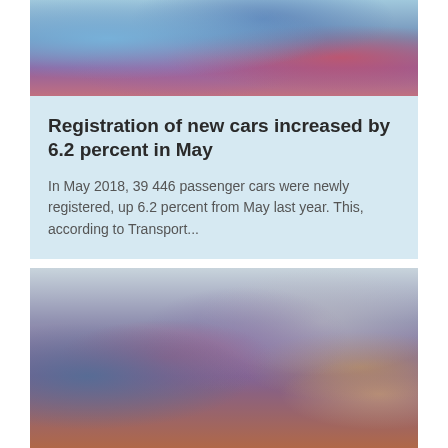[Figure (photo): Close-up photo of colorful car rooftops from above, pink, teal, and dark tones]
Registration of new cars increased by 6.2 percent in May
In May 2018, 39 446 passenger cars were newly registered, up 6.2 percent from May last year. This, according to Transport...
[Figure (photo): Interior of an airplane cabin showing rows of blue and pink seats, with a passenger reading something in the foreground]